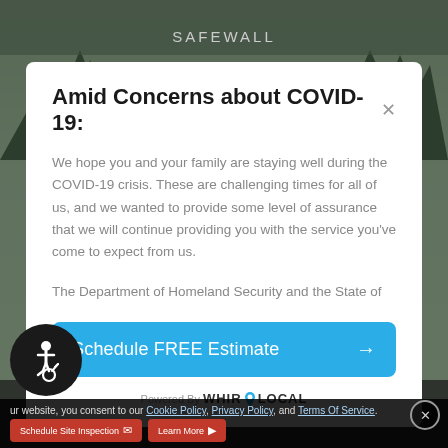SAFEWALL
Amid Concerns about COVID-19:
We hope you and your family are staying well during the COVID-19 crisis. These are challenging times for all of us, and we wanted to provide some level of assurance that we will continue providing you with the service you've come to expect from us.
The Department of Homeland Security and the State of
[Figure (screenshot): Blue call-to-action button labeled 'Schedule FREE Estimate' with a right arrow]
Powered By WHIROLOCAL
[Figure (logo): Accessibility icon - person in wheelchair on black circle]
ur website, you consent to our Cookie Policy, Privacy Policy, and Terms Of Service. Schedule Site Inspection  Learn More